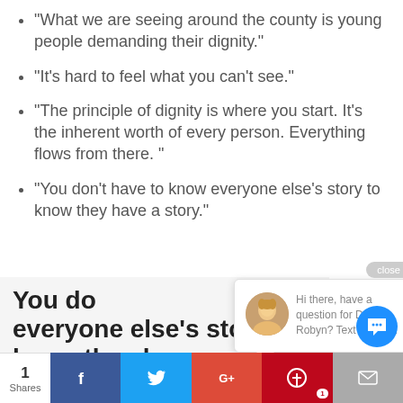“What we are seeing around the county is young people demanding their dignity.”
“It’s hard to feel what you can’t see.”
“The principle of dignity is where you start. It’s the inherent worth of every person. Everything flows from there. ”
“You don’t have to know everyone else’s story to know they have a story.”
You do… everyone else’s story to know they have a story
[Figure (screenshot): Chat popup with avatar photo of a woman and text: Hi there, have a question for Dr. Robyn? Text us here. Close button shown.]
[Figure (infographic): Social share bar with counts: 1 Share, Facebook, Twitter, Google+, Pinterest (1), Email buttons, and a blue chat icon button.]